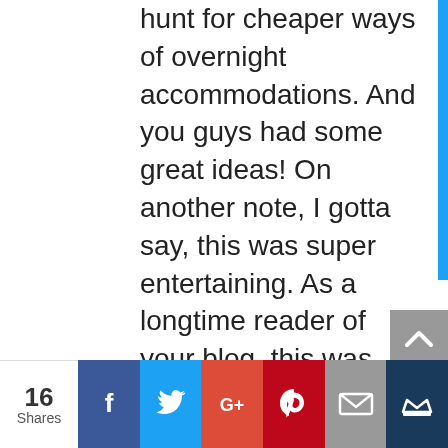hunt for cheaper ways of overnight accommodations. And you guys had some great ideas! On another note, I gotta say, this was super entertaining. As a longtime reader of your blog, this was the first time I'd listened to your podcasts. I wasn't sure what to expect, but they were awesome. Especially since I listened to a couple while I unpacked (just moved!) and it was the best way to
16 Shares | Facebook | Twitter | Google+ | Pinterest | Email | Crown